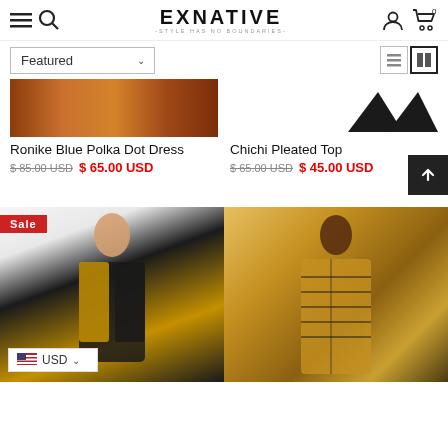EXNATIVE - STYLE HAS NO BOUNDARIES
Featured
[Figure (photo): Product image showing a wood-toned strip for Ronike Blue Polka Dot Dress]
Ronike Blue Polka Dot Dress
$ 85.00 USD  $ 65.00 USD
[Figure (photo): Product image showing black angular shapes for Chichi Pleated Top]
Chichi Pleated Top
$ 65.00 USD  $ 45.00 USD
[Figure (photo): Sale product image: woman in black and yellow patterned sleeveless dress with USD currency selector overlay]
[Figure (photo): Product image: woman in yellow and black patterned top/blouse]